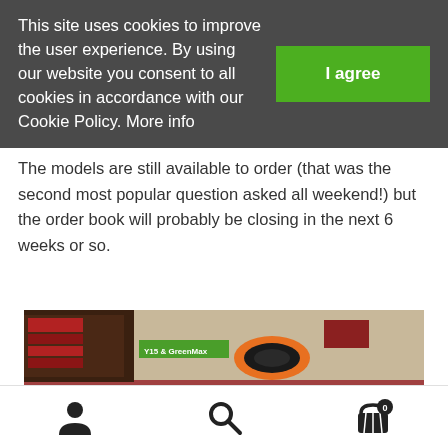This site uses cookies to improve the user experience. By using our website you consent to all cookies in accordance with our Cookie Policy. More info
I agree
The models are still available to order (that was the second most popular question asked all weekend!) but the order book will probably be closing in the next 6 weeks or so.
[Figure (photo): Photo of model railway layout on red table showing multiple model trains on curved tracks with display banners in the background, including a yellow Colas Rail Freight locomotive in the foreground.]
[Figure (infographic): Bottom navigation bar with person/account icon, search magnifying glass icon, and shopping basket icon with badge showing 0]